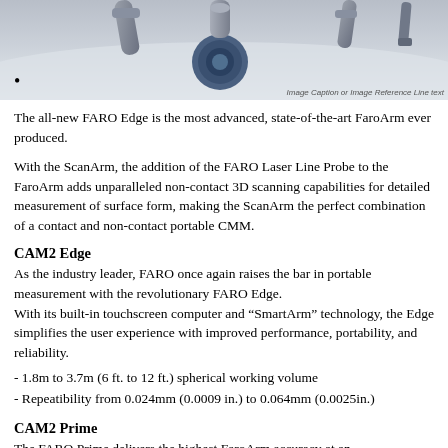[Figure (photo): FARO arm measurement device components shown against a light gray/white background, partially cropped at top of page.]
•
Image Caption or Image Reference Line text
The all-new FARO Edge is the most advanced, state-of-the-art FaroArm ever produced.
With the ScanArm, the addition of the FARO Laser Line Probe to the FaroArm adds unparalleled non-contact 3D scanning capabilities for detailed measurement of surface form, making the ScanArm the perfect combination of a contact and non-contact portable CMM.
CAM2 Edge
As the industry leader, FARO once again raises the bar in portable measurement with the revolutionary FARO Edge.
With its built-in touchscreen computer and “SmartArm” technology, the Edge simplifies the user experience with improved performance, portability, and reliability.
- 1.8m to 3.7m (6 ft. to 12 ft.) spherical working volume
- Repeatibility from 0.024mm (0.0009 in.) to 0.064mm (0.0025in.)
CAM2 Prime
The FARO Prime delivers the highest FaroArm accuracy at an